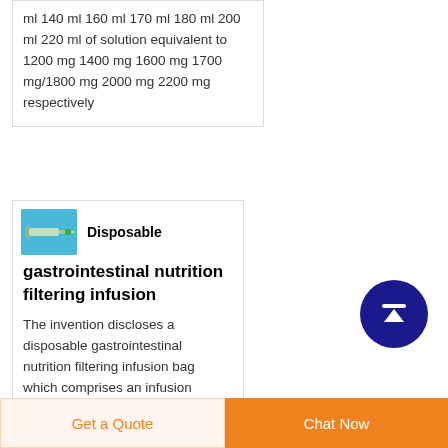ml 140 ml 160 ml 170 ml 180 ml 200 ml 220 ml of solution equivalent to 1200 mg 1400 mg 1600 mg 1700 mg/1800 mg 2000 mg 2200 mg respectively
[Figure (photo): Small green syringe or medical device on blue background]
Disposable gastrointestinal nutrition filtering infusion
The invention discloses a disposable gastrointestinal nutrition filtering infusion bag which comprises an infusion
[Figure (other): Dark blue circular scroll-to-top button with upward arrow and horizontal bar]
Get a Quote   Chat Now